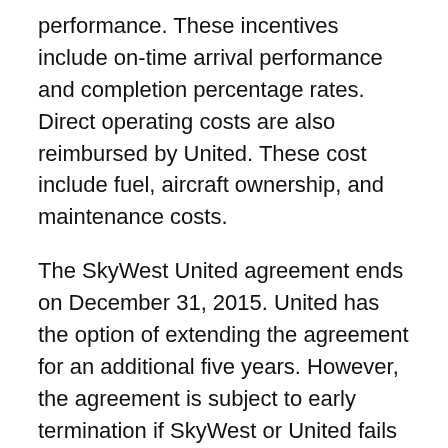performance. These incentives include on-time arrival performance and completion percentage rates. Direct operating costs are also reimbursed by United. These cost include fuel, aircraft ownership, and maintenance costs.
The SkyWest United agreement ends on December 31, 2015. United has the option of extending the agreement for an additional five years. However, the agreement is subject to early termination if SkyWest or United fails to fulfill certain obligations agreed to under the code sharing agreement. The agreement will be terminated if SkyWest operations fall below certain performance levels for a period of three consecutive months. The agreement will also be cancelled if either airline files for bankruptcy or for